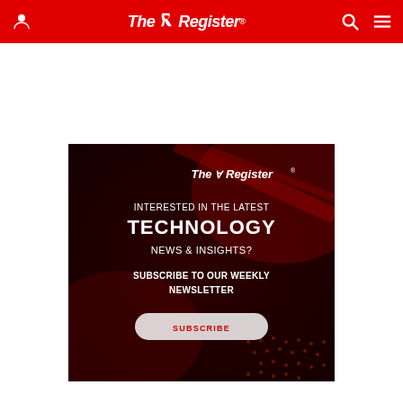The Register
[Figure (illustration): The Register newsletter subscription advertisement banner with dark red textured background, showing The Register logo, text 'INTERESTED IN THE LATEST TECHNOLOGY NEWS & INSIGHTS? SUBSCRIBE TO OUR WEEKLY NEWSLETTER' and a SUBSCRIBE button.]